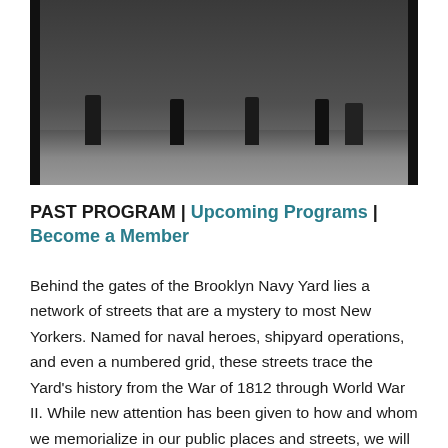[Figure (photo): Black and white historical photograph showing several figures standing in a courtyard or street inside what appears to be the Brooklyn Navy Yard. The image shows people in dark clothing standing at various distances, with large walls or buildings in the background.]
PAST PROGRAM | Upcoming Programs | Become a Member
Behind the gates of the Brooklyn Navy Yard lies a network of streets that are a mystery to most New Yorkers. Named for naval heroes, shipyard operations, and even a numbered grid, these streets trace the Yard's history from the War of 1812 through World War II. While new attention has been given to how and whom we memorialize in our public places and streets, we will unpack the stories of the people behind these street names as we virtually walk through the history of the